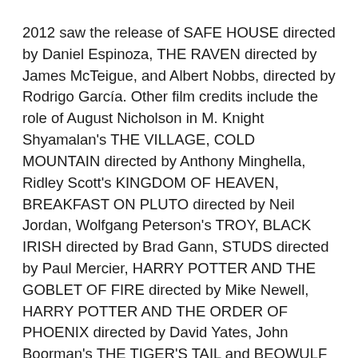2012 saw the release of SAFE HOUSE directed by Daniel Espinoza, THE RAVEN directed by James McTeigue, and Albert Nobbs, directed by Rodrigo García. Other film credits include the role of August Nicholson in M. Knight Shyamalan's THE VILLAGE, COLD MOUNTAIN directed by Anthony Minghella, Ridley Scott's KINGDOM OF HEAVEN, BREAKFAST ON PLUTO directed by Neil Jordan, Wolfgang Peterson's TROY, BLACK IRISH directed by Brad Gann, STUDS directed by Paul Mercier, HARRY POTTER AND THE GOBLET OF FIRE directed by Mike Newell, HARRY POTTER AND THE ORDER OF PHOENIX directed by David Yates, John Boorman's THE TIGER'S TAIL and BEOWULF directed by Robert Zemeckis, John Woo's MISSION: IMPOSSIBLE 2, Steven Spielberg's AI, John Boorman's TAILOR OF PANAMA and COUNTRY OF MY SKULL, Danny Boyle's 28 DAYS LATER, and Martin Scorsese's GANGS OF NEW YORK,